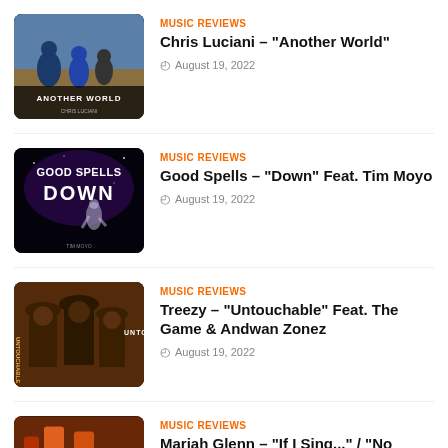[Figure (photo): Album art for 'Another World' by Chris Luciani – people outdoors with text 'ANOTHER WORLD' on black background]
MUSIC REVIEWS
Chris Luciani – "Another World"
August 19, 2022
[Figure (photo): Album art for 'Down' by Good Spells – dark background with stylized text 'GOOD SPELLS DOWN' and a dancer figure]
MUSIC REVIEWS
Good Spells – "Down" Feat. Tim Moyo
August 19, 2022
[Figure (photo): Album art for 'Untouchable' by Treezy – illustrated figures in suits with text 'UNTOUCHABLE']
MUSIC REVIEWS
Treezy – "Untouchable" Feat. The Game & Andwan Zonez
August 19, 2022
[Figure (photo): Partial album art for Mariah Glenn review – colorful background, partially visible]
MUSIC REVIEWS
Mariah Glenn – "If I Sing..." / "No